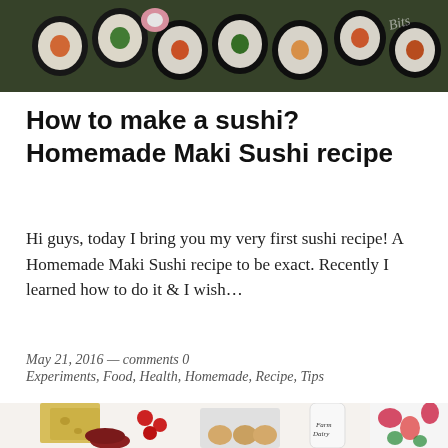[Figure (photo): Top-down view of sushi maki rolls on a bamboo mat with various fillings including vegetables and salmon, with decorative illustration in top right corner]
How to make a sushi? Homemade Maki Sushi recipe
Hi guys, today I bring you my very first sushi recipe! A Homemade Maki Sushi recipe to be exact. Recently I learned how to do it & I wish…
May 21, 2016 — comments 0
Experiments, Food, Health, Homemade, Recipe, Tips
[Figure (photo): Flat lay of dairy and food items including cheese slices, cherry tomatoes, salami, eggs in a carton, a Farm Dairy milk bottle, and a colorful floral patterned cloth]